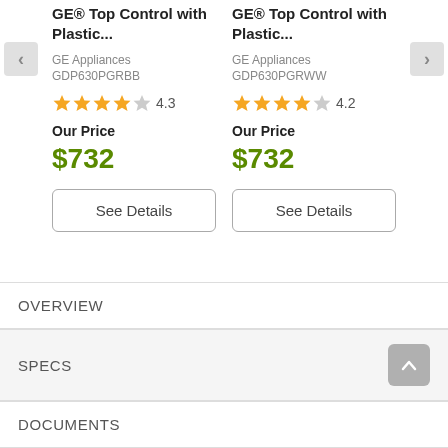GE® Top Control with Plastic...
GE® Top Control with Plastic...
GE Appliances
GDP630PGRBB
GE Appliances
GDP630PGRWW
★★★★☆ 4.3
★★★★☆ 4.2
Our Price $732
Our Price $732
See Details
See Details
OVERVIEW
SPECS
DOCUMENTS